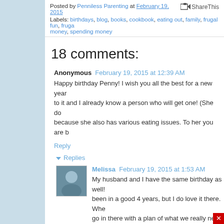Posted by Penniless Parenting at February 19, 2015   ShareThis
Labels: birthdays, blog, books, cookbook, eating out, family, frugal fun, fruga money, spending money
18 comments:
Anonymous  February 19, 2015 at 12:39 AM
Happy birthday Penny! I wish you all the best for a new year to it and I already know a person who will get one! (She do because she also has various eating issues. To her you are b
Reply
Replies
Melissa  February 19, 2015 at 1:53 AM
My husband and I have the same birthday as well! been in a good 4 years, but I do love it there. Whe go in there with a plan of what we really need. This for fun again sooner rather than later!
Penniless Parenting  February 19, 2015 at [5: